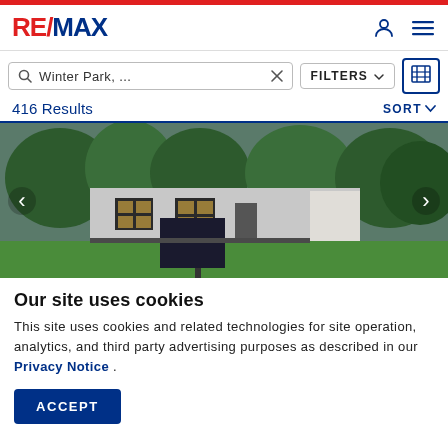[Figure (logo): RE/MAX logo in red and blue]
Winter Park, ...
FILTERS
416 Results
SORT
[Figure (photo): Photograph of a single-story house with green lawn, trees, and a RE/MAX for-sale sign in front. Paved driveway on the right side.]
Our site uses cookies
This site uses cookies and related technologies for site operation, analytics, and third party advertising purposes as described in our Privacy Notice .
ACCEPT